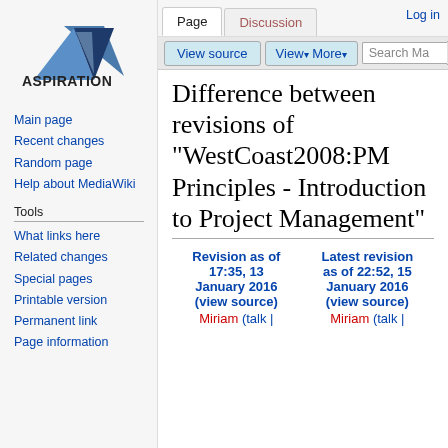Log in
[Figure (logo): Aspiration logo with blue triangle and text 'ASPIRATION']
Main page
Recent changes
Random page
Help about MediaWiki
Tools
What links here
Related changes
Special pages
Printable version
Permanent link
Page information
Difference between revisions of "WestCoast2008:PM Principles - Introduction to Project Management"
| Revision as of 17:35, 13 January 2016 (view source) | Latest revision as of 22:52, 15 January 2016 (view source) |
| --- | --- |
| Miriam (talk | | Miriam (talk | |